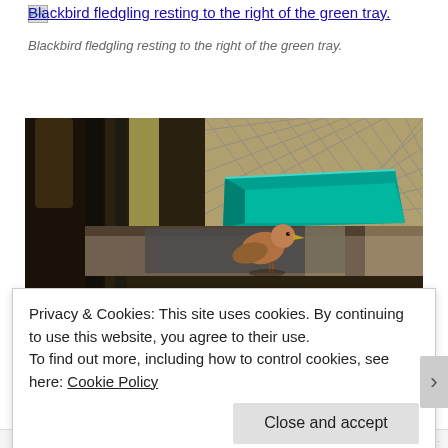[Figure (other): Small broken image icon placeholder to the left of a hyperlink]
Blackbird fledgling resting to the right of the green tray.
Blackbird fledgling resting to the right of the green tray.
[Figure (photo): Photograph of a blackbird fledgling resting on a surface to the right of a green plastic tray, with wooden lattice fencing and tree trunk visible in the background.]
Privacy & Cookies: This site uses cookies. By continuing to use this website, you agree to their use.
To find out more, including how to control cookies, see here: Cookie Policy
Close and accept
AIPC01.THE...